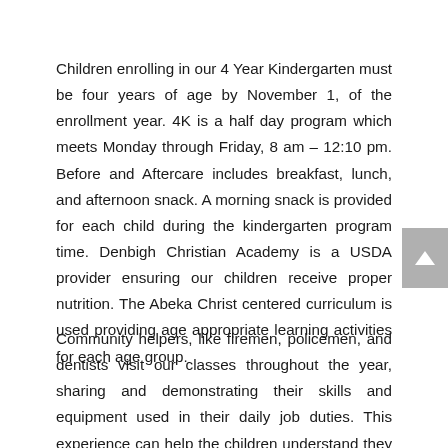Children enrolling in our 4 Year Kindergarten must be four years of age by November 1, of the enrollment year. 4K is a half day program which meets Monday through Friday, 8 am – 12:10 pm. Before and Aftercare includes breakfast, lunch, and afternoon snack. A morning snack is provided for each child during the kindergarten program time. Denbigh Christian Academy is a USDA provider ensuring our children receive proper nutrition. The Abeka Christ centered curriculum is used providing age appropriate learning activities for each age group.
Community helpers, like firemen, policemen, and dentists visit our classes throughout the year, sharing and demonstrating their skills and equipment used in their daily job duties. This experience can help the children understand they are there to help them if the